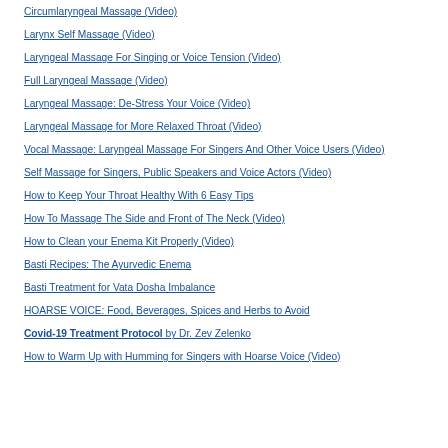Circumlaryngeal Massage (Video)
Larynx Self Massage (Video)
Laryngeal Massage For Singing or Voice Tension (Video)
Full Laryngeal Massage (Video)
Laryngeal Massage: De-Stress Your Voice (Video)
Laryngeal Massage for More Relaxed Throat (Video)
Vocal Massage: Laryngeal Massage For Singers And Other Voice Users (Video)
Self Massage for Singers, Public Speakers and Voice Actors (Video)
How to Keep Your Throat Healthy With 6 Easy Tips
How To Massage The Side and Front of The Neck (Video)
How to Clean your Enema Kit Properly (Video)
Basti Recipes: The Ayurvedic Enema
Basti Treatment for Vata Dosha Imbalance
HOARSE VOICE: Food, Beverages, Spices and Herbs to Avoid
Covid-19 Treatment Protocol by Dr. Zev Zelenko
How to Warm Up with Humming for Singers with Hoarse Voice (Video)